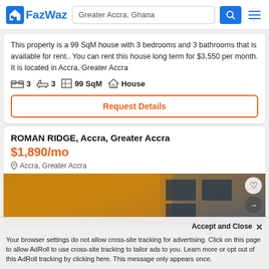FazWaz — Greater Accra, Ghana
This property is a 99 SqM house with 3 bedrooms and 3 bathrooms that is available for rent.. You can rent this house long term for $3,550 per month. It is located in Accra, Greater Accra
3 bedrooms | 3 bathrooms | 99 SqM | House
Request Details
ROMAN RIDGE, Accra, Greater Accra
$1,890/mo
Accra, Greater Accra
[Figure (photo): Orange/yellow building exterior with windows and palm trees visible]
Accept and Close ✕
Your browser settings do not allow cross-site tracking for advertising. Click on this page to allow AdRoll to use cross-site tracking to tailor ads to you. Learn more or opt out of this AdRoll tracking by clicking here. This message only appears once.